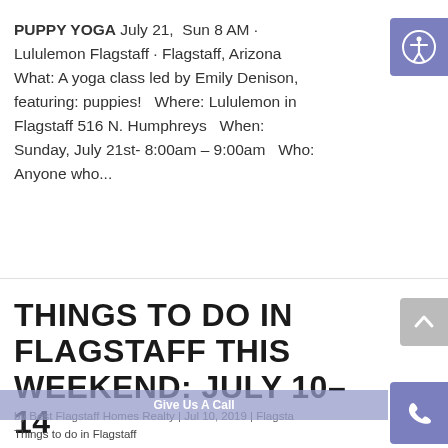PUPPY YOGA July 21,  Sun 8 AM · Lululemon Flagstaff · Flagstaff, Arizona What: A yoga class led by Emily Denison, featuring: puppies!   Where: Lululemon in Flagstaff 516 N. Humphreys   When: Sunday, July 21st- 8:00am – 9:00am   Who: Anyone who...
[Figure (other): Accessibility icon button (person with circle) in purple/blue square, top right corner]
THINGS TO DO IN FLAGSTAFF THIS WEEKEND: JULY 10–14
by Best Flagstaff Homes Realty | Jul 10, 2019 | Flagsta
[Figure (other): Scroll-up arrow button in gray, right side]
[Figure (other): Give Us A Call button with phone icon in purple/blue square, bottom right]
Things to do in Flagstaff